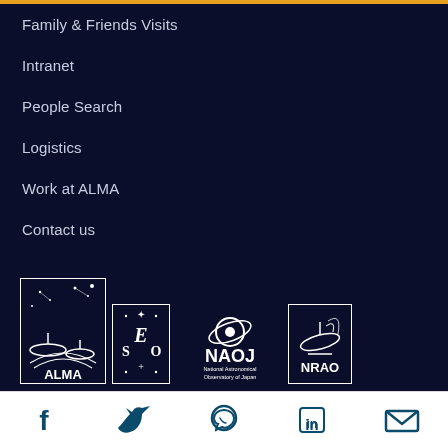Family & Friends Visits
Intranet
People Search
Logistics
Work at ALMA
Contact us
[Figure (logo): ALMA observatory logo - white border box with radio telescope dishes and stars, text ALMA at bottom]
[Figure (logo): ESO logo - white border box with ornate ESO letters and stars]
[Figure (logo): NAOJ logo - National Astronomical Observatory of Japan with stylized planet/orbit icon]
[Figure (logo): NRAO logo - white border box with radio telescope dish icon]
[Figure (infographic): Social media icons row: Facebook, Twitter, WhatsApp, LinkedIn, Email - dark teal color on white background]